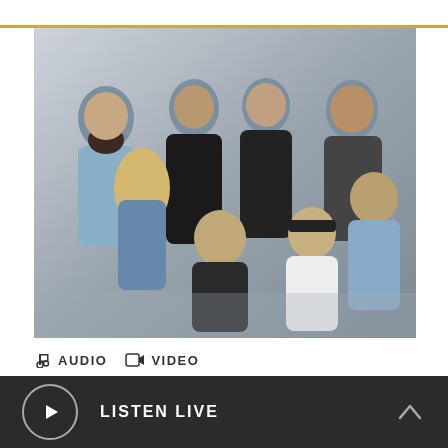[Figure (photo): Group photo of the band Passion (7-8 members) posing against a gray background. Some standing, some seated/crouching in front. Mix of casual and stylish clothing including leather jacket, plaid shirt, denim jacket.]
AUDIO  VIDEO
Passion's Kristian Stanfill on why
LISTEN LIVE